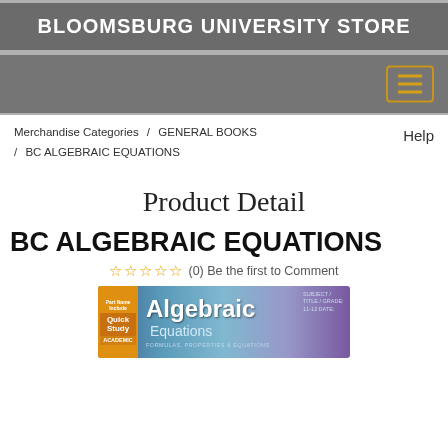BLOOMSBURG UNIVERSITY STORE
Merchandise Categories / GENERAL BOOKS / BC ALGEBRAIC EQUATIONS    Help
Product Detail
BC ALGEBRAIC EQUATIONS
☆ ☆ ☆ ☆ ☆ (0) Be the first to Comment
[Figure (illustration): Book cover image for 'Algebraic Equations' from QuickStudy Academic series, showing colorful gradient background with green, blue, and purple tones. Left side shows orange QuickStudy Academic badge. Title reads 'Algebraic Equations' in large bold white text with subtitle 'Equations' in lighter text.]